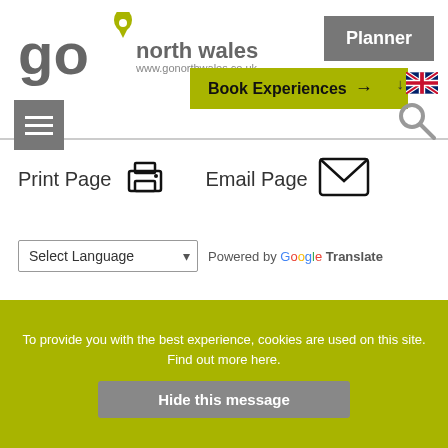[Figure (logo): Go North Wales logo with location pin and text 'go north wales www.gonorthwales.co.uk']
Planner
Book Experiences →
[Figure (other): UK flag with down arrow indicating language selection]
[Figure (other): Hamburger menu icon (three horizontal lines on grey background)]
[Figure (other): Search magnifying glass icon]
Print Page
[Figure (other): Printer icon]
Email Page
[Figure (other): Email envelope icon]
Select Language
Powered by Google Translate
[Figure (other): Social media icons: Facebook, Twitter, Instagram, YouTube]
To provide you with the best experience, cookies are used on this site. Find out more here.
Hide this message